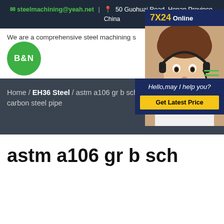steelmachining@yeah.net | 50 Guohuai Road, Henan Province, China
We are a comprehensive steel machining s...
[Figure (logo): B&N green circular logo]
[Figure (photo): Customer service representative with headset, 7X24 Online chat widget with Hello,may I help you? and Get Latest Price button]
Home / EH36 Steel / astm a106 gr b sch 4 carbon steel pipe
astm a106 gr b sch